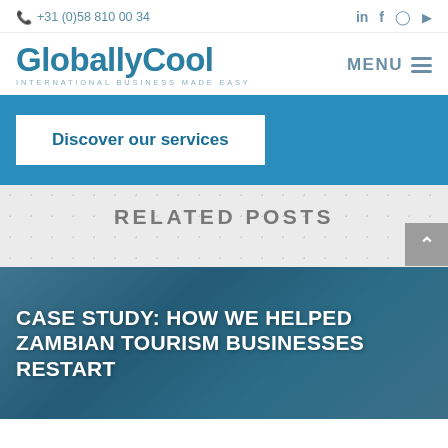📞 +31 (0)58 810 00 34
[Figure (logo): GloballyCool logo with tagline INTERNATIONAL BUSINESS MADE EASY]
MENU
[Figure (screenshot): Discover our services button on blue banner background]
RELATED POSTS
[Figure (photo): Case study card with photo background: CASE STUDY: HOW WE HELPED ZAMBIAN TOURISM BUSINESSES RESTART]